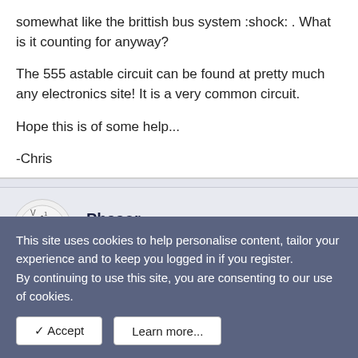somewhat like the brittish bus system :shock: . What is it counting for anyway?
The 555 astable circuit can be found at pretty much any electronics site! It is a very common circuit.
Hope this is of some help...
-Chris
Phasor
Member
Oct 8, 2003   #7
This site uses cookies to help personalise content, tailor your experience and to keep you logged in if you register.
By continuing to use this site, you are consenting to our use of cookies.